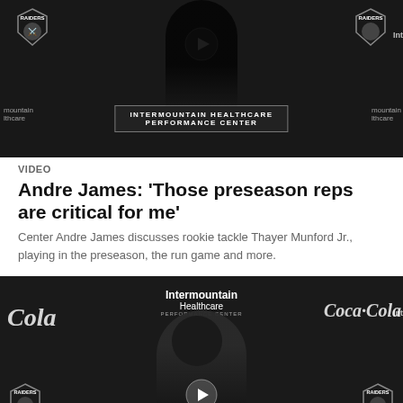[Figure (photo): Video thumbnail showing a person at the Intermountain Healthcare Performance Center podium with Raiders logos visible on a dark background. A play button is centered on the image.]
VIDEO
Andre James: 'Those preseason reps are critical for me'
Center Andre James discusses rookie tackle Thayer Munford Jr., playing in the preseason, the run game and more.
[Figure (photo): Second video thumbnail showing a smiling person wearing a Raiders cap at the Intermountain Healthcare Performance Center, with Coca-Cola branding and Raiders logos visible. A play button overlay is visible.]